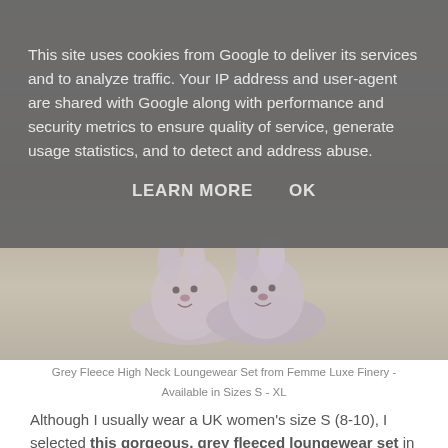This site uses cookies from Google to deliver its services and to analyze traffic. Your IP address and user-agent are shared with Google along with performance and security metrics to ensure quality of service, generate usage statistics, and to detect and address abuse.
LEARN MORE    OK
[Figure (photo): Photo of a pair of grey bunny/animal face slippers on a wooden floor surface, partially visible below the cookie consent overlay]
Grey Fleece High Neck Loungewear Set from Femme Luxe Finery - Available in Sizes S - XL
Although I usually wear a UK women's size S (8-10), I selected this gorgeous, grey fleeced loungewear set in the size M (12/14) because, during lockdown, I have